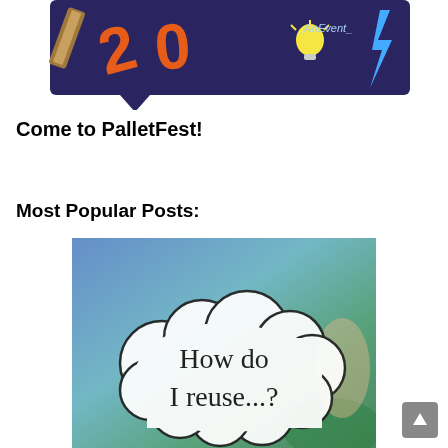[Figure (logo): PalletFest event logo on dark blue/purple background with orange '20' and lightbulb 'An Event' text]
Come to PalletFest!
Most Popular Posts:
[Figure (photo): Photo of a cloud-shaped speech bubble sign reading 'How do I reuse...?' held by a person, with blue and green blurry background]